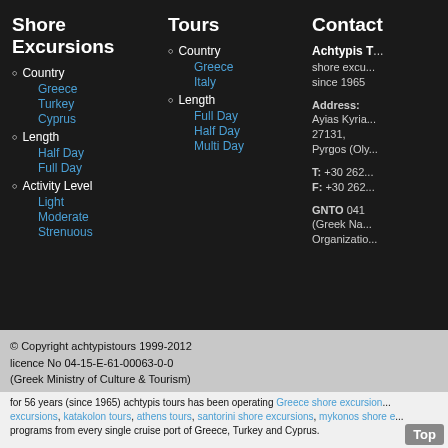Shore Excursions
Country
Greece
Turkey
Cyprus
Length
Half Day
Full Day
Activity Level
Light
Moderate
Strenuous
Tours
Country
Greece
Italy
Length
Full Day
Half Day
Multi Day
Contact
Achtypis T... shore excursions since 1965
Address: Ayias Kyria... 27131, Pyrgos (Oly...
T: +30 262... F: +30 262...
GNTO 041 (Greek Na... Organizatio...
© Copyright achtypistours 1999-2012 licence No 04-15-E-61-00063-0-0 (Greek Ministry of Culture & Tourism)
for 56 years (since 1965) achtypis tours has been operating Greece shore excursion... excursions, katakolon tours, athens tours, santorini shore excursions, mykonos shore e... programs from every single cruise port of Greece, Turkey and Cyprus.